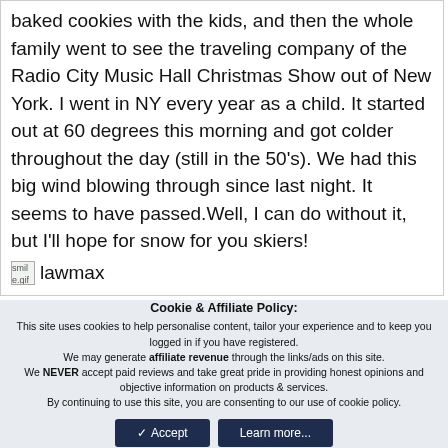baked cookies with the kids, and then the whole family went to see the traveling company of the Radio City Music Hall Christmas Show out of New York. I went in NY every year as a child. It started out at 60 degrees this morning and got colder throughout the day (still in the 50's). We had this big wind blowing through since last night. It seems to have passed.Well, I can do without it, but I'll hope for snow for you skiers!
smile.gif lawmax
pricescope
Cookie & Affiliate Policy: This site uses cookies to help personalise content, tailor your experience and to keep you logged in if you have registered. We may generate affiliate revenue through the links/ads on this site. We NEVER accept paid reviews and take great pride in providing honest opinions and objective information on products & services. By continuing to use this site, you are consenting to our use of cookie policy.